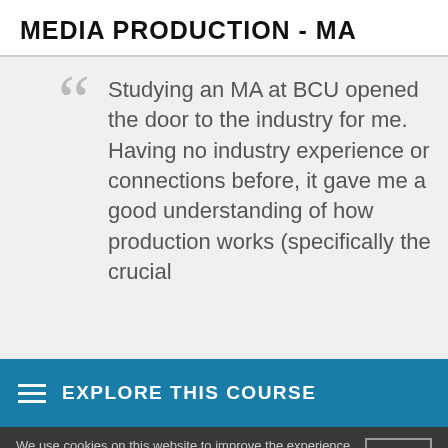MEDIA PRODUCTION - MA
Studying an MA at BCU opened the door to the industry for me. Having no industry experience or connections before, it gave me a good understanding of how production works (specifically the crucial
EXPLORE THIS COURSE
We use cookies on this website to improve the experience we provide. By continuing to use our site you agree to this, or visit our cookie policy to manage your settings.
OK